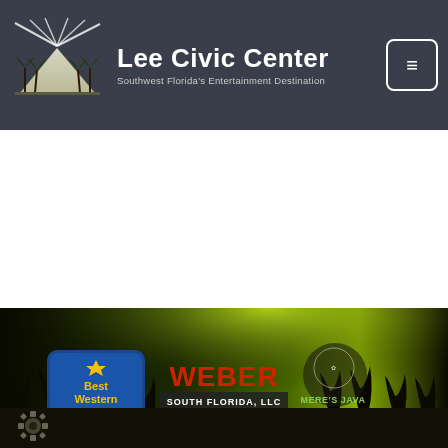Lee Civic Center — Southwest Florida's Entertainment Destination
[Figure (logo): Lee Civic Center logo with palm trees and spotlight]
[Figure (photo): Concert crowd silhouette with green stage lighting, sponsor logos: Best Western, Weber South Florida LLC Aggregate Materials, Mere's Java]
[Figure (logo): Gear/settings icon at bottom left]